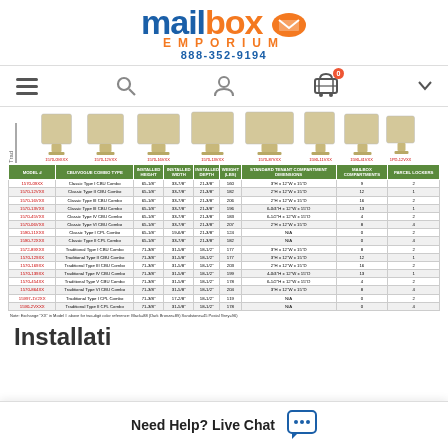[Figure (logo): Mailbox Emporium logo with blue 'mailbox' text, orange 'EMPORIUM' text, and phone number 888-352-9194]
[Figure (screenshot): Navigation bar with hamburger menu, search, user account, and shopping cart icons]
[Figure (photo): Row of CBU/Vogue mailbox combo product silhouette images with red SKU labels below each]
| MODEL # | CBU/VOGUE COMBO TYPE | INSTALLED HEIGHT | INSTALLED WIDTH | INSTALLED DEPTH | WEIGHT (LBS) | STANDARD TENANT COMPARTMENT DIMENSIONS | MAILBOX COMPARTMENTS | PARCEL LOCKERS |
| --- | --- | --- | --- | --- | --- | --- | --- | --- |
| 1570-09XX | Classic Type I CBU Combo | 65-1/8" | 33-7/8" | 21-3/8" | 160 | 3"H x 12"W x 15"D | 9 | 2 |
| 1570-12VXX | Classic Type II CBU Combo | 65-1/8" | 33-7/8" | 21-3/8" | 182 | 2"H x 12"W x 15"D | 12 | 1 |
| 1570-16VXX | Classic Type III CBU Combo | 65-1/8" | 33-7/8" | 21-3/8" | 206 | 2"H x 12"W x 15"D | 16 | 2 |
| 1570-13VXX | Classic Type III CBU Combo | 65-1/8" | 33-7/8" | 21-3/8" | 196 | 6-0/4"H x 12"W x 15"D | 13 | 1 |
| 1570-45VXX | Classic Type IV CBU Combo | 65-1/8" | 33-7/8" | 21-3/8" | 183 | 6-1/2"H x 12"W x 15"D | 4 | 2 |
| 1570-06VXX | Classic Type VI CBU Combo | 65-1/8" | 33-7/8" | 21-3/8" | 207 | 2"H x 12"W x 15"D | 8 | 4 |
| 1590-11XXX | Classic Type I CPL Combo | 65-1/8" | 19-6/8" | 21-3/8" | 124 | N/A | 0 | 2 |
| 1590-72XXX | Classic Type II CPL Combo | 65-1/8" | 33-7/8" | 21-3/8" | 182 | N/A | 0 | 4 |
| 1572-89XXX | Traditional Type I CBU Combo | 71-3/8" | 31-5/8" | 18-1/2" | 177 | 3"H x 12"W x 15"D | 8 | 2 |
| 1570-129XX | Traditional Type II CBU Combo | 71-3/8" | 31-5/8" | 18-1/2" | 177 | 3"H x 12"W x 15"D | 12 | 1 |
| 1570-169XX | Traditional Type III CBU Combo | 71-3/8" | 31-5/8" | 18-1/2" | 203 | 2"H x 12"W x 15"D | 16 | 2 |
| 1570-139XX | Traditional Type IV CBU Combo | 71-3/8" | 31-5/8" | 18-1/2" | 199 | 4-0/4"H x 12"W x 15"D | 13 | 1 |
| 1570-454XX | Traditional Type V CBU Combo | 71-3/8" | 31-5/8" | 18-1/2" | 178 | 6-1/2"H x 12"W x 15"D | 4 | 2 |
| 1570-864XX | Traditional Type VI CBU Combo | 71-3/8" | 31-5/8" | 18-1/2" | 204 | 3"H x 12"W x 15"D | 8 | 4 |
| 15997-1V2XX | Traditional Type I CPL Combo | 71-3/8" | 17-2/8" | 18-1/2" | 119 | N/A | 0 | 2 |
| 1590-2VXXX | Traditional Type II CPL Combo | 71-3/8" | 31-5/8" | 18-1/2" | 178 | N/A | 0 | 4 |
Note: Exchange "XX" in Model # above for two-digit color reference: Black=88 (Dark Bronze=89) Sandstone=45 Postal Grey=96)
Installation